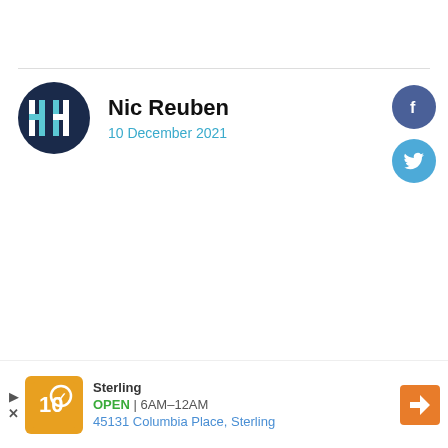[Figure (logo): HH logo circle — dark navy background with stylized H H letters in teal/white]
Nic Reuben
10 December 2021
[Figure (infographic): Facebook and Twitter social share buttons (circular icons)]
[Figure (infographic): Ad banner: Sterling OPEN 6AM-12AM, 45131 Columbia Place, Sterling]